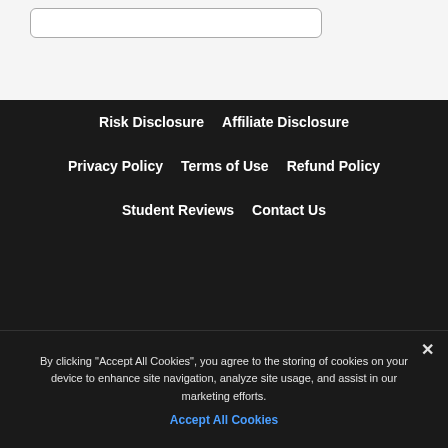Risk Disclosure
Affiliate Disclosure
Privacy Policy
Terms of Use
Refund Policy
Student Reviews
Contact Us
By clicking "Accept All Cookies", you agree to the storing of cookies on your device to enhance site navigation, analyze site usage, and assist in our marketing efforts.
Accept All Cookies